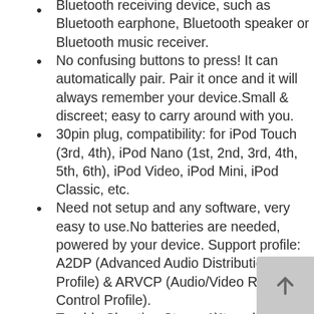Bluetooth receiving device, such as Bluetooth earphone, Bluetooth speaker or Bluetooth music receiver.
No confusing buttons to press! It can automatically pair. Pair it once and it will always remember your device.Small & discreet; easy to carry around with you.
30pin plug, compatibility: for iPod Touch (3rd, 4th), iPod Nano (1st, 2nd, 3rd, 4th, 5th, 6th), iPod Video, iPod Mini, iPod Classic, etc.
Need not setup and any software, very easy to use.No batteries are needed, powered by your device. Support profile: A2DP (Advanced Audio Distribution Profile) & ARVCP (Audio/Video Remote Control Profile).
Trouble Shooting Steps- 1)It works on Apple products with 30pin plug, but it Does Not support